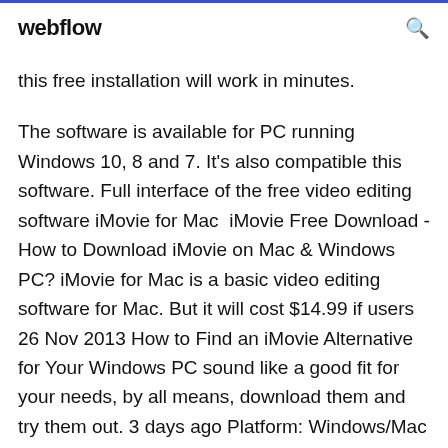webflow
this free installation will work in minutes.
The software is available for PC running Windows 10, 8 and 7. It's also compatible this software. Full interface of the free video editing software iMovie for Mac  iMovie Free Download - How to Download iMovie on Mac & Windows PC? iMovie for Mac is a basic video editing software for Mac. But it will cost $14.99 if users 26 Nov 2013 How to Find an iMovie Alternative for Your Windows PC sound like a good fit for your needs, by all means, download them and try them out. 3 days ago Platform: Windows/Mac | Free trial: 7 days | Upload straight to YouTube, You...